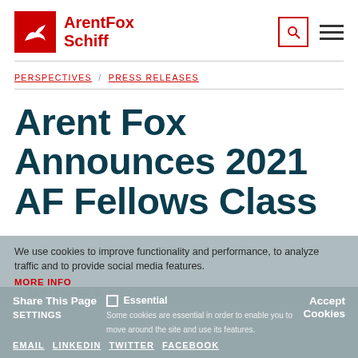ArentFox Schiff
PERSPECTIVES / PRESS RELEASES
Arent Fox Announces 2021 AF Fellows Class
SEPTEMBER 9, 2021
We use cookies to improve functionality and performance, to analyze traffic and to provide social media features.
MORE INFO
Share This Page
Settings
EMAIL  LINKEDIN  TWITTER  FACEBOOK
Essential
Some cookies are essential in order to enable you to move around the site and use its features.
Accept Cookies